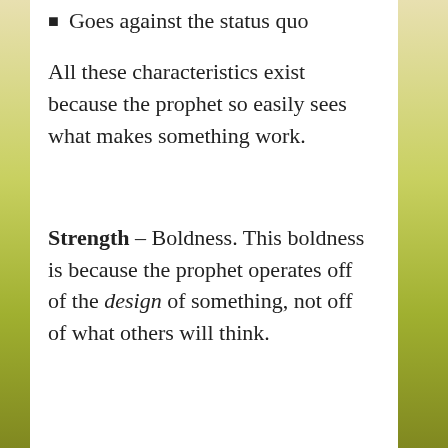Goes against the status quo
All these characteristics exist because the prophet so easily sees what makes something work.
Strength – Boldness. This boldness is because the prophet operates off of the design of something, not off of what others will think.